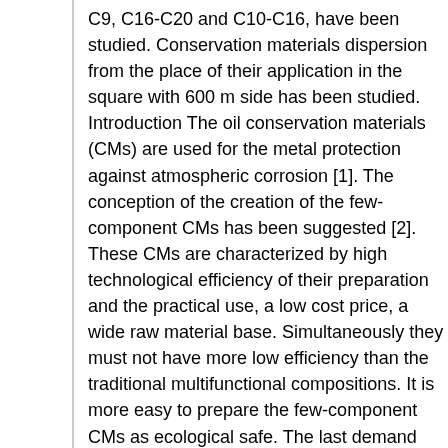C9, C16-C20 and C10-C16, have been studied. Conservation materials dispersion from the place of their application in the square with 600 m side has been studied. Introduction The oil conservation materials (CMs) are used for the metal protection against atmospheric corrosion [1]. The conception of the creation of the few-component CMs has been suggested [2]. These CMs are characterized by high technological efficiency of their preparation and the practical use, a low cost price, a wide raw material base. Simultaneously they must not have more low efficiency than the traditional multifunctional compositions. It is more easy to prepare the few-component CMs as ecological safe. The last demand determines a necessity of the integral estimation of the toxicological properties of such compositions and their components. Toxicological and physical-chemical meaning of the criterion quantities LACwz - the limiting admitted concentration of a working zone – characterizes a maximum admitted real concentration of the given